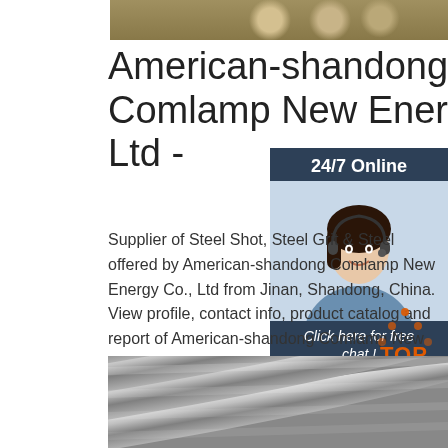[Figure (photo): Photo of steel rods/billets from above, showing cylindrical metal bars with red printed labels]
American-shandong Comlamp New Energy Co Ltd -
Supplier of Steel Shot, Steel Grit & Steel offered by American-shandong Comlamp New Energy Co., Ltd from Jinan, Shandong, China. View profile, contact info, product catalog and report of American-shandong Comlamp New Energy Co., Ltd
[Figure (photo): Widget showing 24/7 Online customer service representative with headset, and a Click here for free chat button, and QUOTATION button]
Get Price
[Figure (illustration): TOP navigation icon with orange dotted triangle/house shape]
[Figure (photo): Photo of shiny steel rods/bars arranged diagonally]